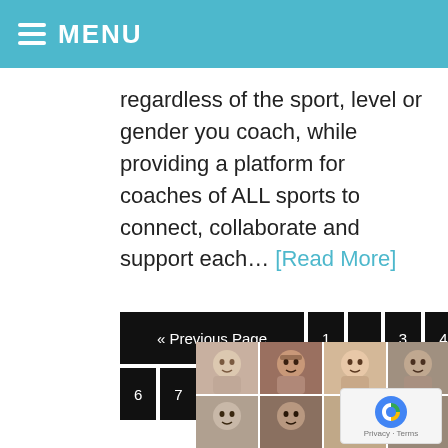MENU
regardless of the sport, level or gender you coach, while providing a platform for coaches of ALL sports to connect, collaborate and support each… [Read More]
[Figure (screenshot): Pagination navigation with Previous Page, 1, ..., 3, 4, 5 (active/red), 6, 7, Next Page buttons]
[Figure (photo): Grid of six people's faces in a video call / photo collage layout]